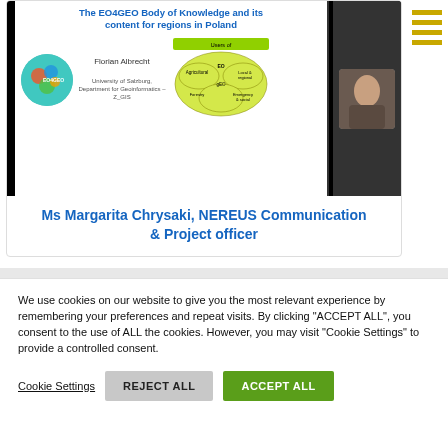[Figure (screenshot): Screenshot of an online webinar/conference showing a presentation slide titled 'The EO4GEO Body of Knowledge and its content for regions in Poland' by Florian Albrecht from University of Salzburg, Department for Geoinformatics – Z_GIS, with EO4GEO circular logo, a diagram showing Users of EO, and a webcam thumbnail of a woman presenter.]
Ms Margarita Chrysaki, NEREUS Communication & Project officer
We use cookies on our website to give you the most relevant experience by remembering your preferences and repeat visits. By clicking "ACCEPT ALL", you consent to the use of ALL the cookies. However, you may visit "Cookie Settings" to provide a controlled consent.
Cookie Settings  REJECT ALL  ACCEPT ALL